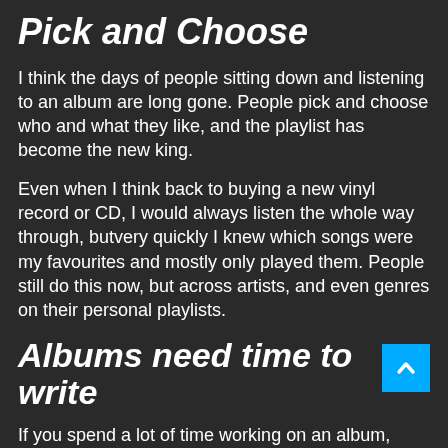Pick and Choose
I think the days of people sitting down and listening to an album are long gone. People pick and choose who and what they like, and the playlist has become the new king.
Even when I think back to buying a new vinyl record or CD, I would always listen the whole way through, butvery quickly I knew which songs were my favourites and mostly only played them. People still do this now, but across artists, and even genres on their personal playlists.
Albums need time to write
If you spend a lot of time working on an album, there becomes a danger people 'forget' who you are because you are not regularly releasing new